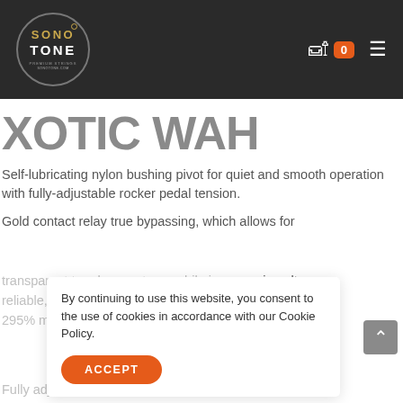[Figure (logo): Sono Tone Premium Strings circular logo in dark header]
Sono Tone header navigation with cart (0) and hamburger menu
XOTIC WAH
Self-lubricating nylon bushing pivot for quiet and smooth operation with fully-adjustable rocker pedal tension.
Gold contact relay true bypassing, which allows for transparent true bypass tone, while incorporating ultra reliable million life cycle. 295% longer than conventional wah pedals.
By continuing to use this website, you consent to the use of cookies in accordance with our Cookie Policy.
ACCEPT
Full wah-Q and Bias controls and a two-band EQ with center-detent potentiometers optimize the voicing for different playing styles and gear.